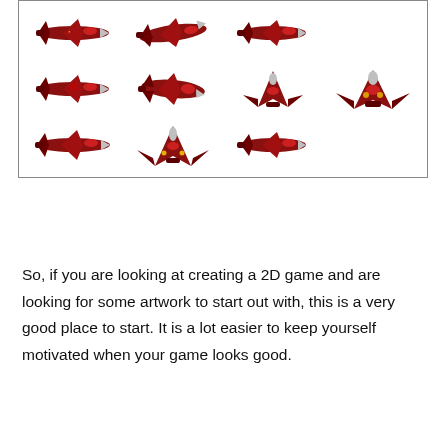[Figure (illustration): A sprite sheet showing 11 red military jet aircraft in various orientations (side view, front-angled, top-down), arranged in a 4-column 3-row grid inside a bordered box. Each jet is rendered in dark red with silver nose cones and Soviet-style star markings.]
So, if you are looking at creating a 2D game and are looking for some artwork to start out with, this is a very good place to start. It is a lot easier to keep yourself motivated when your game looks good.